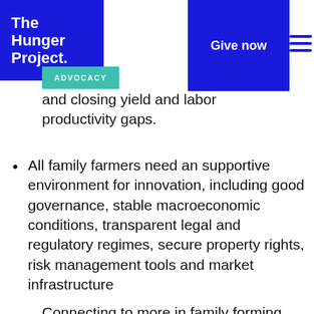The Hunger Project. | Give now | ADVOCACY
and closing yield and labor productivity gaps.
All family farmers need a supportive environment for innovation, including good governance, stable macroeconomic conditions, transparent legal and regulatory regimes, secure property rights, risk management tools and market infrastructure
Connecting to more in family forming (partial, cut off)